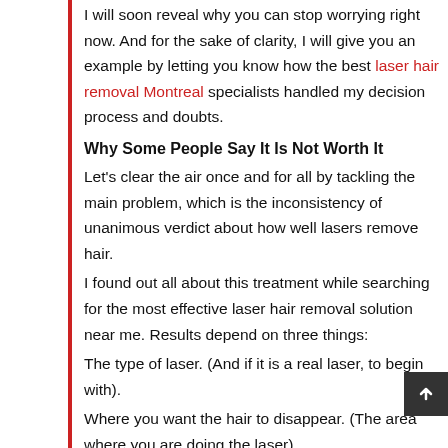I will soon reveal why you can stop worrying right now. And for the sake of clarity, I will give you an example by letting you know how the best laser hair removal Montreal specialists handled my decision process and doubts.
Why Some People Say It Is Not Worth It
Let’s clear the air once and for all by tackling the main problem, which is the inconsistency of unanimous verdict about how well lasers remove hair.
I found out all about this treatment while searching for the most effective laser hair removal solution near me. Results depend on three things:
The type of laser. (And if it is a real laser, to begin with).
Where you want the hair to disappear. (The area where you are doing the laser)